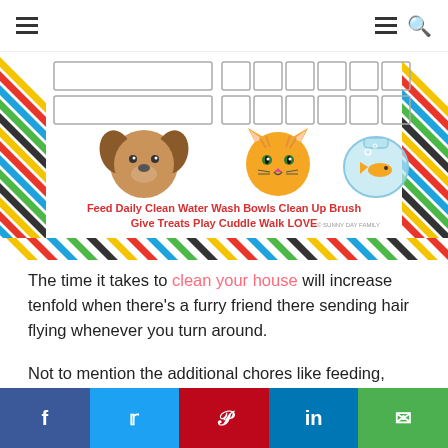≡  ≡ 🔍
[Figure (illustration): Pet chore chart with colorful diagonal stripe border. Contains rows of empty checkboxes, cartoon dog, cat, and fish bowl images, and text listing pet care tasks: Feed Daily, Clean Water, Wash Bowls, Clean Up, Brush, Give Treats, Play, Cuddle, Walk, LOVE. © SUNNY DAY FAMILY]
The time it takes to clean your house will increase tenfold when there's a furry friend there sending hair flying whenever you turn around.
Not to mention the additional chores like feeding, grooming, and exercise will become a routine part
f  t  p  in  ✉